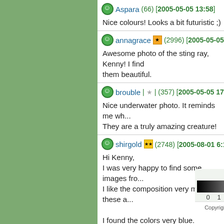Aspara (66) [2005-05-05 13:58] Nice colours! Looks a bit futuristic ;)
annagrace (2996) [2005-05-05 14:22] Awesome photo of the sting ray, Kenny! I find them beautiful.
brouble (357) [2005-05-05 17:00] Nice underwater photo. It reminds me wh... They are a truly amazing creature!
shirgold (2748) [2005-08-01 6:19] - [w...] Hi Kenny, I was very happy to find some images fro... I like the composition very much, these a... I found the colors very blue.. although it's... workshot - hope you like the result. TFS - Shir
Cal
[Figure (other): Gradient bar from black to white with numbers 0 1 2 3 4 5 below]
Copyright © 2018 MH Sub I, LLC dba Internet Bran... the Terms of Use. | Priv...